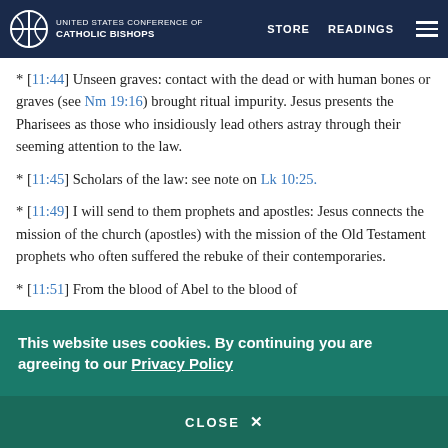UNITED STATES CONFERENCE OF CATHOLIC BISHOPS | STORE | READINGS
* [11:44] Unseen graves: contact with the dead or with human bones or graves (see Nm 19:16) brought ritual impurity. Jesus presents the Pharisees as those who insidiously lead others astray through their seeming attention to the law.
* [11:45] Scholars of the law: see note on Lk 10:25.
* [11:49] I will send to them prophets and apostles: Jesus connects the mission of the church (apostles) with the mission of the Old Testament prophets who often suffered the rebuke of their contemporaries.
* [11:51] From the blood of Abel to the blood of
This website uses cookies. By continuing you are agreeing to our Privacy Policy
CLOSE X